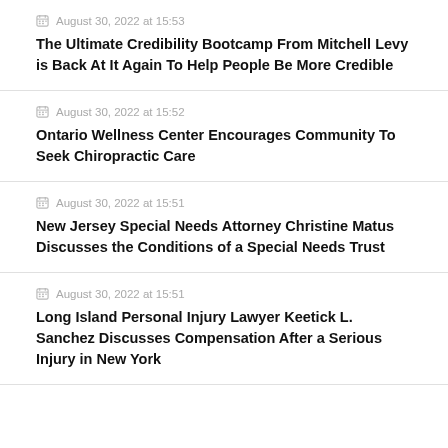August 30, 2022 at 15:53 — The Ultimate Credibility Bootcamp From Mitchell Levy is Back At It Again To Help People Be More Credible
August 30, 2022 at 15:52 — Ontario Wellness Center Encourages Community To Seek Chiropractic Care
August 30, 2022 at 15:51 — New Jersey Special Needs Attorney Christine Matus Discusses the Conditions of a Special Needs Trust
August 30, 2022 at 15:51 — Long Island Personal Injury Lawyer Keetick L. Sanchez Discusses Compensation After a Serious Injury in New York